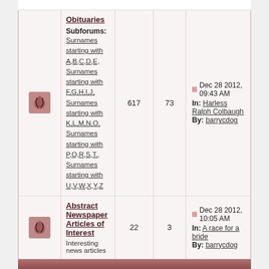|  | Forum | Topics | Replies | Last Post Info |
| --- | --- | --- | --- | --- |
| [icon] | Obituaries
Subforums: Surnames starting with A,B,C,D,E, Surnames starting with F,G,H,I,J, Surnames starting with K,L,M,N,O, Surnames starting with P,Q,R,S,T., Surnames starting with U,V,W,X,Y,Z | 617 | 73 | Dec 28 2012, 09:43 AM
In: Harless Ralph Colbaugh
By: barrycdog |
| [icon] | Abstract Newspaper Articles of Interest
Interesting news articles | 22 | 3 | Dec 28 2012, 10:05 AM
In: A race for a bride
By: barrycdog |
▶ Random Acts of Kindness
| Forum | Topics | Replies | Last Post Info |
| --- | --- | --- | --- |